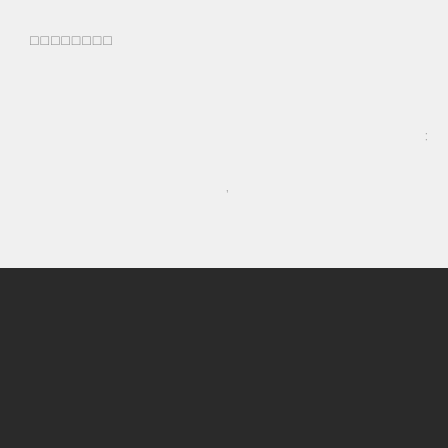□□□□□□□□
comprehensive eye examination
The most important part of preventive healthy vision care is anannular comprehensive eye examination. Optometrists detect and manage